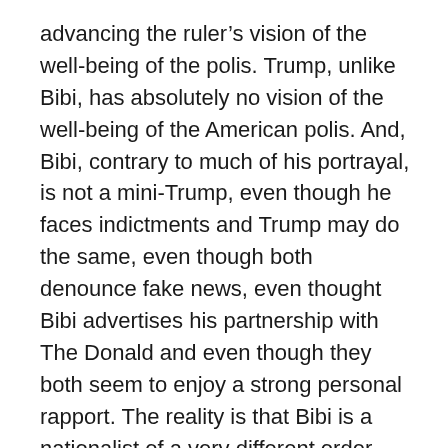advancing the ruler's vision of the well-being of the polis. Trump, unlike Bibi, has absolutely no vision of the well-being of the American polis. And, Bibi, contrary to much of his portrayal, is not a mini-Trump, even though he faces indictments and Trump may do the same, even though both denounce fake news, even thought Bibi advertises his partnership with The Donald and even though they both seem to enjoy a strong personal rapport. The reality is that Bibi is a nationalist of a very different order than Donald Trump, a visionary rather than nostalgic nationalist.
Unlike Trump, true Machiavellians, in advancing their agendas, recognize the fickleness of the public, note that enthusiasms wane and fade. The true Machiavellian is able to sustain a long-term agenda and, in some way, use